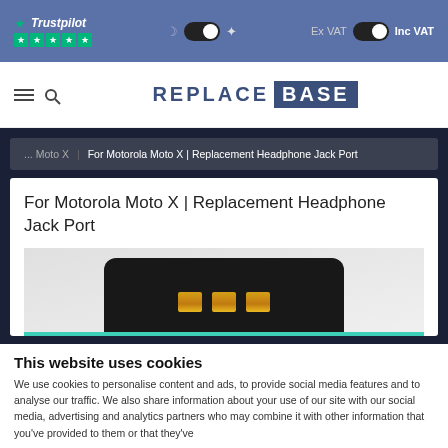Trustpilot | Ex VAT / Inc VAT toggle
[Figure (logo): Replace Base logo with burger menu icon and search icon]
...Moto X | For Motorola Moto X | Replacement Headphone Jack Port
For Motorola Moto X | Replacement Headphone Jack Port
[Figure (photo): Close-up photo of a replacement headphone jack port component with gold contacts on dark background]
This website uses cookies
We use cookies to personalise content and ads, to provide social media features and to analyse our traffic. We also share information about your use of our site with our social media, advertising and analytics partners who may combine it with other information that you've provided to them or that they've